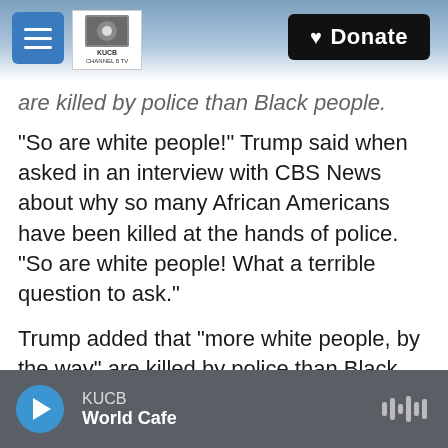KUCB Channel 8 TV — Donate
are killed by police than Black people.
"So are white people!" Trump said when asked in an interview with CBS News about why so many African Americans have been killed at the hands of police. "So are white people! What a terrible question to ask."
Trump added that "more white people, by the way" are killed by police than Black people.
More white people may be killed by police annually, but Black Americans are killed at a far higher rate.
KUCB — World Cafe